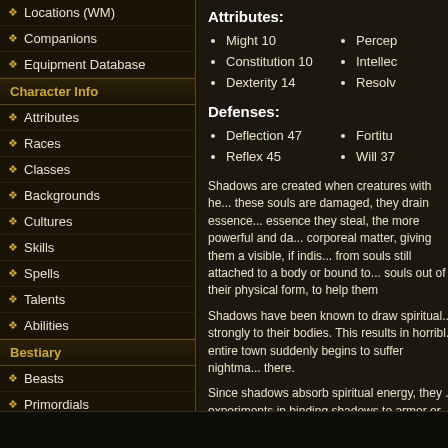Locations (WM)
Companions
Equipment Database
Character Info
Attributes
Races
Classes
Backgrounds
Cultures
Skills
Spells
Talents
Abilities
Bestiary
Beasts
Primordials
Spirits
Vessels
Attributes:
Might 10, Constitution 10, Dexterity 14, Perception [partial], Intellect [partial], Resolve [partial]
Defenses:
Deflection 47, Reflex 45, Fortitude [partial], Will 37 [partial]
Shadows are created when creatures with he... these souls are damaged, they drain essence... essence they steal, the more powerful and da... corporeal matter, giving them a visible, if indis... from souls still attached to a body or bound to... souls out of their physical form, to help them...
Shadows have been known to draw spiritual... strongly to their bodies. This results in horribl... entire town suddenly begins to suffer nightma... there.
Since shadows absorb spiritual energy, they ... experiments in binding shadows to armor or e... by such creatures.